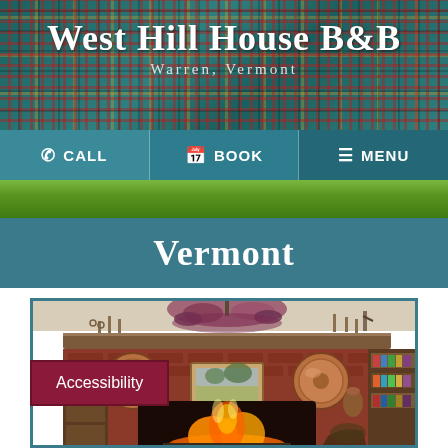[Figure (screenshot): West Hill House B&B website header with plaid tartan background]
West Hill House B&B
Warren, Vermont
[Figure (screenshot): Navigation bar with CALL, BOOK, and MENU buttons on teal background]
[Figure (photo): Grass/lawn strip photo]
Vermont
[Figure (photo): Interior photo of a cozy room with brick fireplace, copper decorations, candlesticks, flowers, and bookshelves]
Accessibility